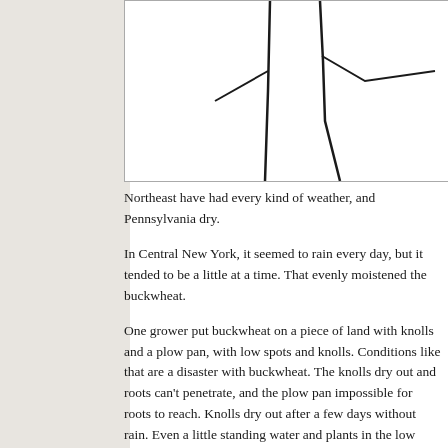[Figure (illustration): Partial illustration of buckwheat plant stems/leaves, black line drawing on white background, cropped at top]
Northeast have had every kind of wea... and Pennsylvania dry.
In Central New York, it seemed to rain... it tended to be a little at a time. That e... buckwheat.
One grower put buckwheat on a piece... and a plow pan, with low spots and kn... like that are a disaster with buckhwea... penetrate, and the plow pan impossib... out after a few days without rain. Ever... plants in the low spots drown, and the... plow pan.
But this year’s regular showers kept th... water every couple of days but never...
In early August, nights started cooling... encouraged the buckwheat plants to m... September, many fields are getting d...